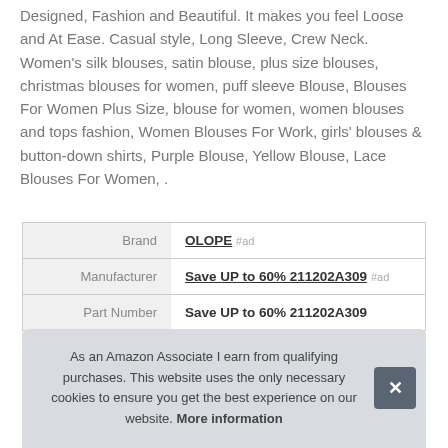Designed, Fashion and Beautiful. It makes you feel Loose and At Ease. Casual style, Long Sleeve, Crew Neck. Women's silk blouses, satin blouse, plus size blouses, christmas blouses for women, puff sleeve Blouse, Blouses For Women Plus Size, blouse for women, women blouses and tops fashion, Women Blouses For Work, girls' blouses & button-down shirts, Purple Blouse, Yellow Blouse, Lace Blouses For Women, .
|  |  |
| --- | --- |
| Brand | OLOPE #ad |
| Manufacturer | Save UP to 60% 211202A309 #ad |
| Part Number | Save UP to 60% 211202A309 |
As an Amazon Associate I earn from qualifying purchases. This website uses the only necessary cookies to ensure you get the best experience on our website. More information